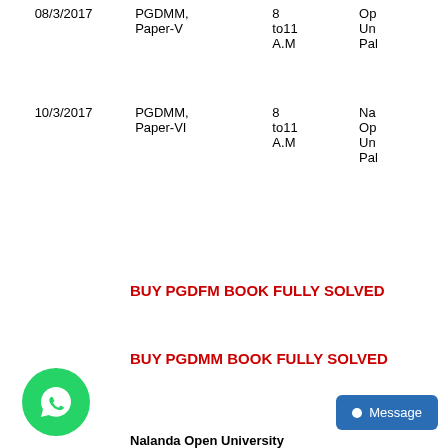| Date | Paper | Time | Venue |
| --- | --- | --- | --- |
| 08/3/2017 | PGDMM, Paper-V | 8 to11 A.M | Op Un Pal |
| 10/3/2017 | PGDMM, Paper-VI | 8 to11 A.M | Na Op Un Pal |
BUY PGDFM BOOK FULLY SOLVED
BUY PGDMM BOOK FULLY SOLVED
[Figure (logo): WhatsApp green circle button with phone icon]
Message
Nalanda Open University